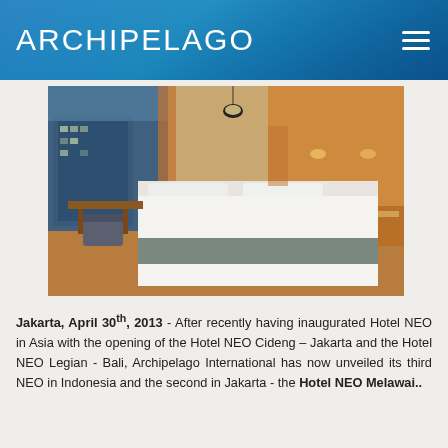ARCHIPELAGO
[Figure (photo): Hotel NEO room interior showing a large double bed with white linens and grey accent runner, warm wood headboard, bedside lamps, and a desk with chair near a window overlooking a city building at dusk.]
Jakarta, April 30th, 2013 - After recently having inaugurated Hotel NEO in Asia with the opening of the Hotel NEO Cideng – Jakarta and the Hotel NEO Legian - Bali, Archipelago International has now unveiled its third NEO in Indonesia and the second in Jakarta - the Hotel NEO Melawai..
The new NEO sits on the corner of Jalan Panglima...